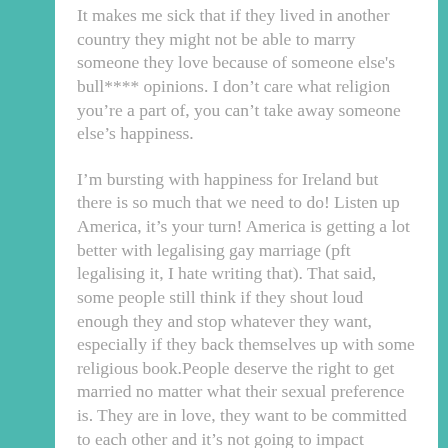It makes me sick that if they lived in another country they might not be able to marry someone they love because of someone else's bull**** opinions. I don't care what religion you're a part of, you can't take away someone else's happiness.
I'm bursting with happiness for Ireland but there is so much that we need to do! Listen up America, it's your turn! America is getting a lot better with legalising gay marriage (pft legalising it, I hate writing that). That said, some people still think if they shout loud enough they and stop whatever they want, especially if they back themselves up with some religious book.People deserve the right to get married no matter what their sexual preference is. They are in love, they want to be committed to each other and it's not going to impact anyone else's life other than theirs.
I realise this has gotten slightly ranty and I apologise. I just feel so passionate that countries such as the UK and USA